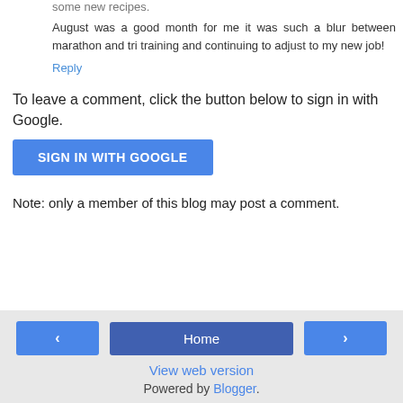some new recipes.
August was a good month for me it was such a blur between marathon and tri training and continuing to adjust to my new job!
Reply
To leave a comment, click the button below to sign in with Google.
SIGN IN WITH GOOGLE
Note: only a member of this blog may post a comment.
‹  Home  ›  View web version  Powered by Blogger.